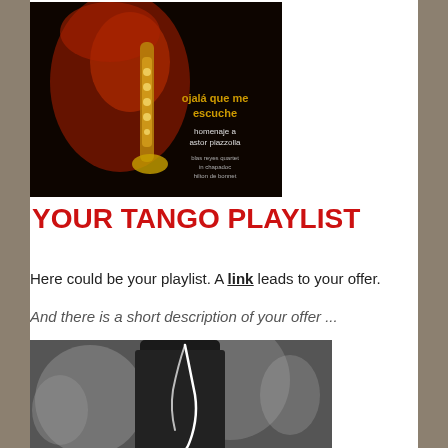[Figure (photo): Album cover for 'Ojalá que me escuche - homenaje a Astor Piazzolla' featuring a musician playing saxophone, dark red and black tones with gold text]
YOUR TANGO PLAYLIST
Here could be your playlist. A link leads to your offer.
And there is a short description of your offer ...
[Figure (photo): Black and white photo of a person wearing dark clothing with white earphone wires, tango/music themed]